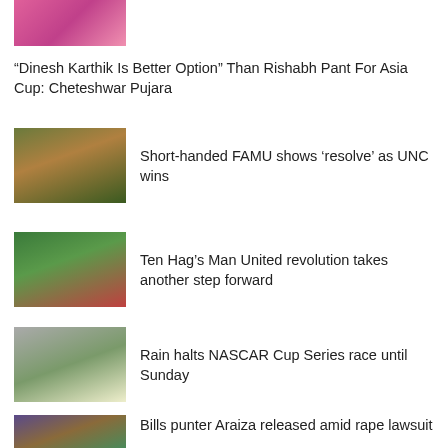[Figure (photo): Partial sports photo at top, pink/magenta background with a person]
“Dinesh Karthik Is Better Option” Than Rishabh Pant For Asia Cup: Cheteshwar Pujara
[Figure (photo): American football players, green helmets]
Short-handed FAMU shows ‘resolve’ as UNC wins
[Figure (photo): Soccer players in green jerseys celebrating]
Ten Hag’s Man United revolution takes another step forward
[Figure (photo): NASCAR race track with rain cover on the track]
Rain halts NASCAR Cup Series race until Sunday
[Figure (photo): Sports player punting a football]
Bills punter Araiza released amid rape lawsuit